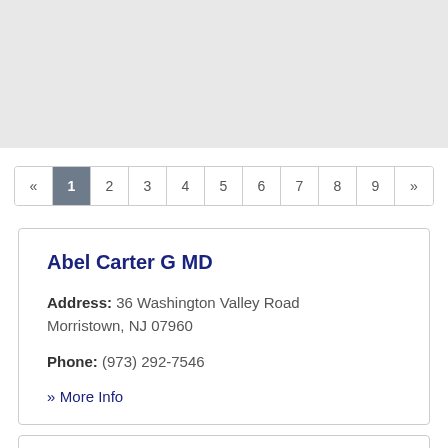[Figure (other): Pagination control with pages «, 1 (active), 2, 3, 4, 5, 6, 7, 8, 9, »]
Abel Carter G MD
Address: 36 Washington Valley Road Morristown, NJ 07960
Phone: (973) 292-7546
» More Info